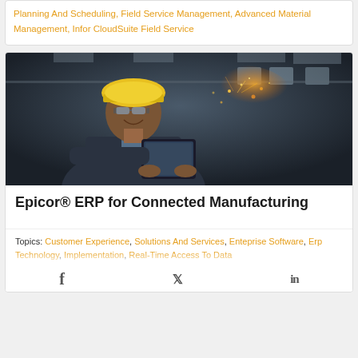Planning And Scheduling, Field Service Management, Advanced Material Management, Infor CloudSuite Field Service
[Figure (photo): A smiling man wearing a yellow hard hat and safety glasses, dressed in a dark jacket, using a tablet device in an industrial facility with sparks flying in the background.]
Epicor® ERP for Connected Manufacturing
Topics: Customer Experience, Solutions And Services, Enteprise Software, Erp Technology, Implementation, Real-Time Access To Data